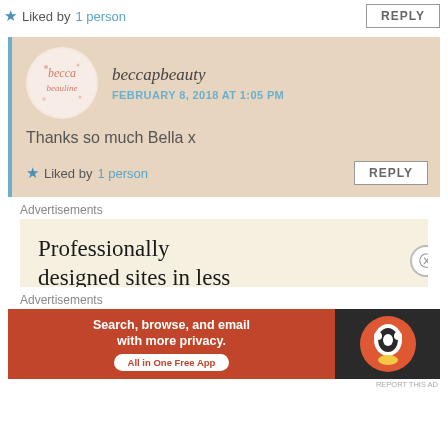★ Liked by 1 person
REPLY
beccapbeauty
FEBRUARY 8, 2018 AT 1:05 PM
Thanks so much Bella x
★ Liked by 1 person
REPLY
Advertisements
Professionally designed sites in less
Advertisements
[Figure (infographic): DuckDuckGo advertisement: Search, browse, and email with more privacy. All in One Free App. Shows DuckDuckGo logo on dark background.]